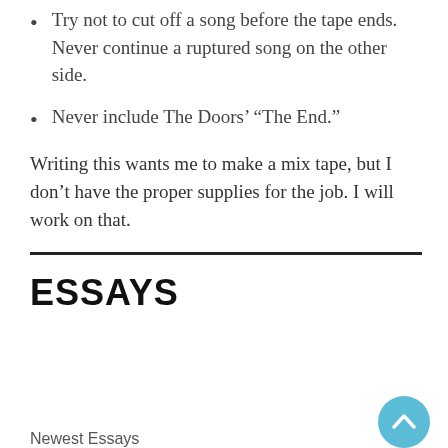Try not to cut off a song before the tape ends. Never continue a ruptured song on the other side.
Never include The Doors’ “The End.”
Writing this wants me to make a mix tape, but I don’t have the proper supplies for the job. I will work on that.
ESSAYS
Newest Essays